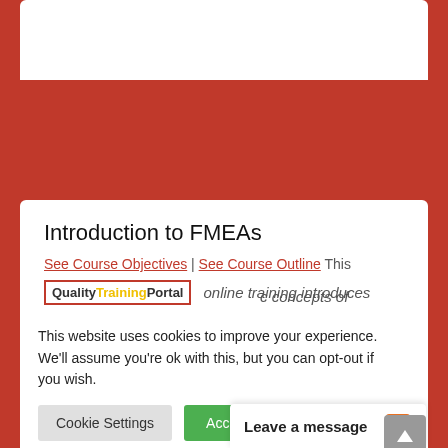[Figure (screenshot): Top portion of a white card visible above red background band]
Introduction to FMEAs
See Course Objectives | See Course Outline This online training introduces
[Figure (logo): QualityTrainingPortal logo with yellow Training text]
concepts of Mode and ideal for rvisors who onsible for
This website uses cookies to improve your experience. We'll assume you're ok with this, but you can opt-out if you wish.
Cookie Settings
Accept All
Read More
serving on the FMI
Leave a message